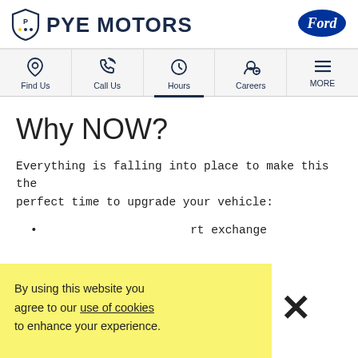PYE MOTORS — Ford dealer website header
[Figure (logo): Pye Motors shield logo with text PYE MOTORS and Ford oval logo on the right]
[Figure (other): Navigation bar with icons: Find Us, Call Us, Hours (active/underlined), Careers, MORE]
Why NOW?
Everything is falling into place to make this the perfect time to upgrade your vehicle:
...rt exchange
By using this website you agree to our use of cookies to enhance your experience.